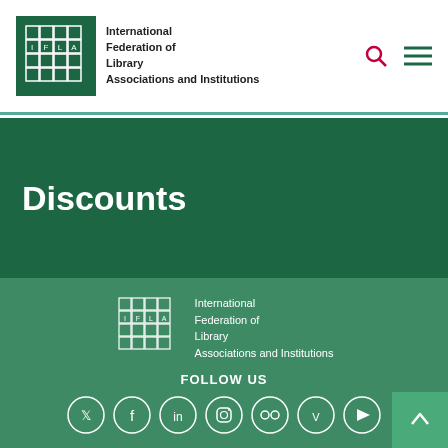[Figure (logo): IFLA logo with grid pattern and text: International Federation of Library Associations and Institutions]
Discounts
[Figure (logo): IFLA white logo with grid pattern and text: International Federation of Library Associations and Institutions]
FOLLOW US
[Figure (infographic): Social media icons in circles: Twitter, Facebook, LinkedIn, Instagram, Flickr, Vimeo, YouTube]